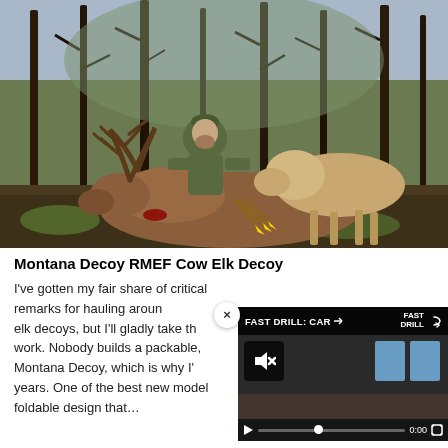[Figure (photo): A hunter in camouflage clothing posing behind a harvested bull elk and a cow elk decoy in a burned forest setting. The elk has large antlers. Yellow-fletched arrows are visible. Trees without leaves surround the scene.]
Montana Decoy RMEF Cow Elk Decoy
I've gotten my fair share of critical remarks for hauling around elk decoys, but I'll gladly take th[e ribbing when they] work. Nobody builds a packable, [elk decoy better than] Montana Decoy, which is why I'[ve used them for] years. One of the best new mode[ls is the] foldable design that…
[Figure (screenshot): A video player overlay showing 'FAST DRILL: CAR' with a muted speaker icon, blue target blocks, a progress bar, 0:00 timestamp, and a fullscreen button. There is a close (×) button in the top right of the overlay area.]